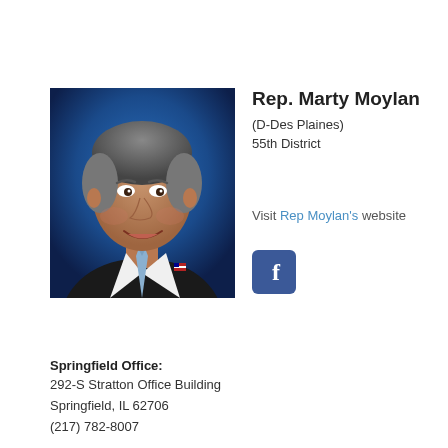[Figure (photo): Headshot photo of Rep. Marty Moylan, a middle-aged man with gray hair, wearing a dark suit and light blue tie, smiling against a blue background.]
Rep. Marty Moylan
(D-Des Plaines)
55th District
Visit Rep Moylan's website
[Figure (logo): Facebook icon button — white lowercase 'f' on a blue rounded square background]
Springfield Office:
292-S Stratton Office Building
Springfield, IL 62706
(217) 782-8007